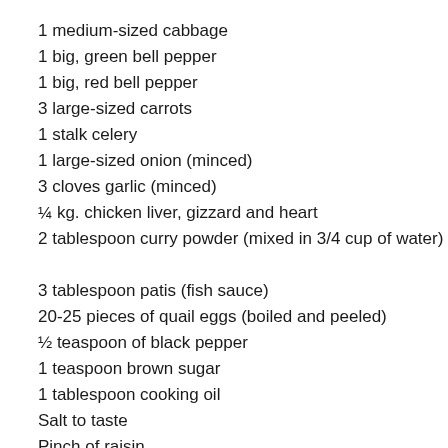1 medium-sized cabbage
1 big, green bell pepper
1 big, red bell pepper
3 large-sized carrots
1 stalk celery
1 large-sized onion (minced)
3 cloves garlic (minced)
¼ kg. chicken liver, gizzard and heart
2 tablespoon curry powder (mixed in 3/4 cup of water)
3 tablespoon patis (fish sauce)
20-25 pieces of quail eggs (boiled and peeled)
½ teaspoon of black pepper
1 teaspoon brown sugar
1 tablespoon cooking oil
Salt to taste
Pinch of raisin